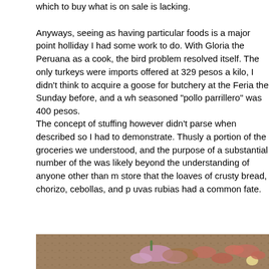which to buy what is on sale is lacking.
Anyways, seeing as having particular foods is a major point holliday I had some work to do. With Gloria the Peruana as a cook, the bird problem resolved itself. The only turkeys were imports offered at 329 pesos a kilo, I didn't think to acquire a goose for butchery at the Feria the Sunday before, and a whole seasoned "pollo parrillero" was 400 pesos.
The concept of stuffing however didn't parse when described, so I had to demonstrate. Thusly a portion of the groceries were understood, and the purpose of a substantial number of the was likely beyond the understanding of anyone other than my store that the loaves of crusty bread, chorizo, cebollas, and uvas rubias had a common fate.
[Figure (photo): Photo of food ingredients including chopped onions, meat/chorizo pieces, and other ingredients on a patterned surface/wrapper]